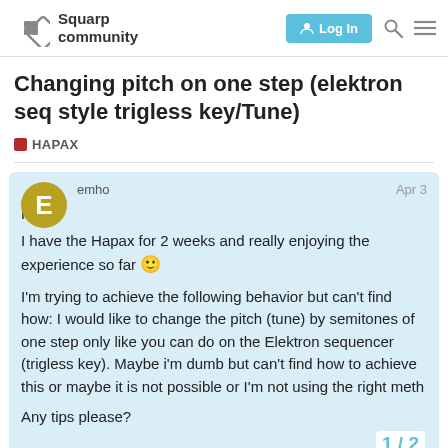Squarp community — Log In
Changing pitch on one step (elektron seq style trigless key/Tune)
HAPAX
emho
Apr 3
Hi
I have the Hapax for 2 weeks and really enjoying the experience so far 🙂

I'm trying to achieve the following behavior but can't find how: I would like to change the pitch (tune) by semitones of one step only like you can do on the Elektron sequencer (trigless key). Maybe i'm dumb but can't find how to achieve this or maybe it is not possible or I'm not using the right meth

Any tips please?
1 / 2